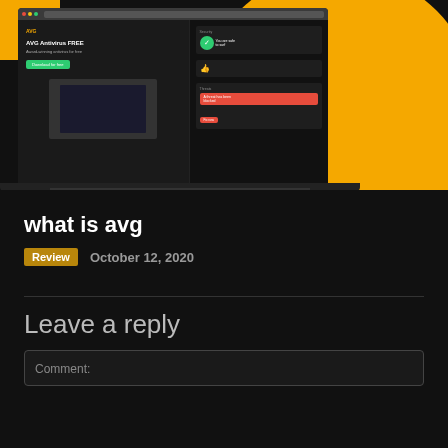[Figure (screenshot): AVG antivirus software website and dashboard screenshot on a laptop, shown against an orange and black background]
what is avg
Review   October 12, 2020
Leave a reply
Comment: